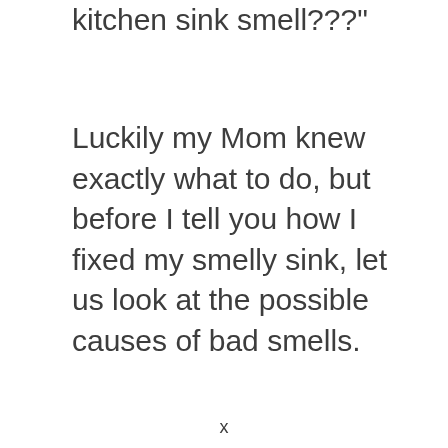kitchen sink smell???"
Luckily my Mom knew exactly what to do, but before I tell you how I fixed my smelly sink, let us look at the possible causes of bad smells.
x